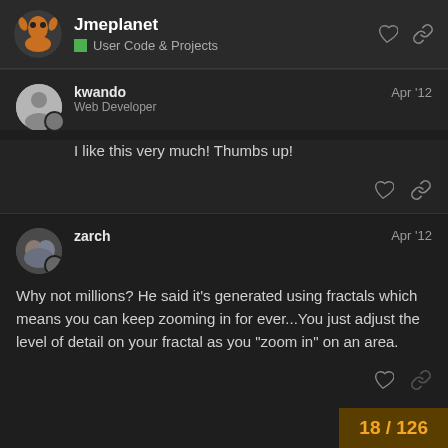Jmeplanet — User Code & Projects
kwando — Web Developer — Apr '12
I like this very much! Thumbs up!
zarch — Apr '12
Why not millions? He said it's generated using fractals which means you can keep zooming in for ever...You just adjust the level of detail on your fractal as you "zoom in" on an area.
18 / 126